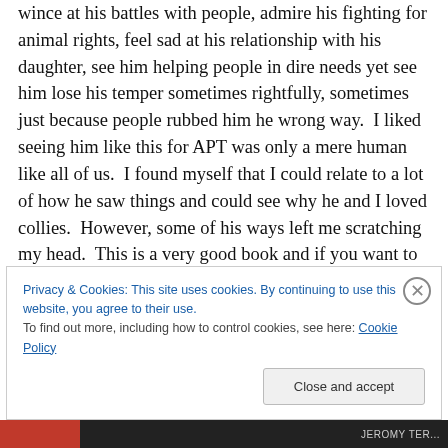wince at his battles with people, admire his fighting for animal rights, feel sad at his relationship with his daughter, see him helping people in dire needs yet see him lose his temper sometimes rightfully, sometimes just because people rubbed him he wrong way.  I liked seeing him like this for APT was only a mere human like all of us.  I found myself that I could relate to a lot of how he saw things and could see why he and I loved collies.  However, some of his ways left me scratching my head.  This is a very good book and if you want to learn more about Terhune it is a must.  Between chapters the author relates a winter trip to
Privacy & Cookies: This site uses cookies. By continuing to use this website, you agree to their use.
To find out more, including how to control cookies, see here: Cookie Policy
Close and accept